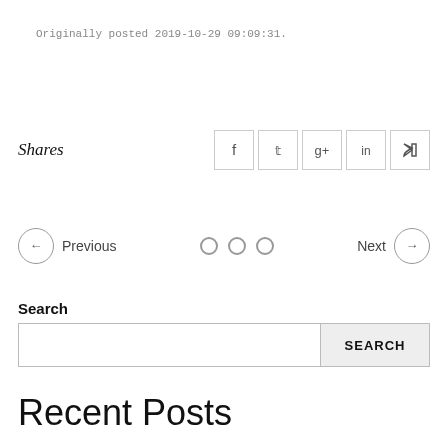Originally posted 2019-10-29 09:09:31.
Shares
← Previous   ○ ○ ○   Next →
Search
Recent Posts